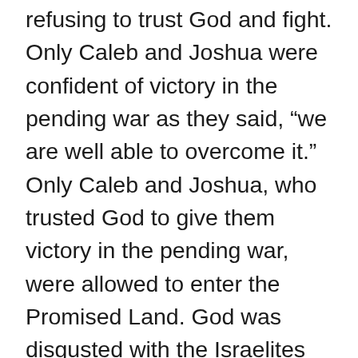refusing to trust God and fight. Only Caleb and Joshua were confident of victory in the pending war as they said, “we are well able to overcome it.” Only Caleb and Joshua, who trusted God to give them victory in the pending war, were allowed to enter the Promised Land. God was disgusted with the Israelites who wouldn’t take up arms and fight in a war to seize the Promised Land. God saw their refusal to fight as a lack of faith! No Israelite who refused to fight at that juncture ever entered the Promised Land. Forty years later, a new generation of Israelites under Joshua entered the